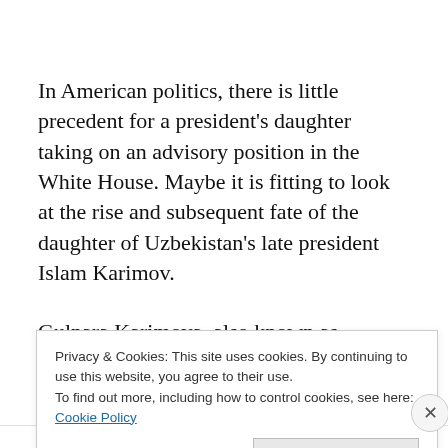In American politics, there is little precedent for a president's daughter taking on an advisory position in the White House. Maybe it is fitting to look at the rise and subsequent fate of the daughter of Uzbekistan's late president Islam Karimov.
Gulnara Karimova, also known as GooGoosha, was once a high-flyer in Uzbekistan, dabbling in telecoms, show
Privacy & Cookies: This site uses cookies. By continuing to use this website, you agree to their use.
To find out more, including how to control cookies, see here: Cookie Policy
Close and accept